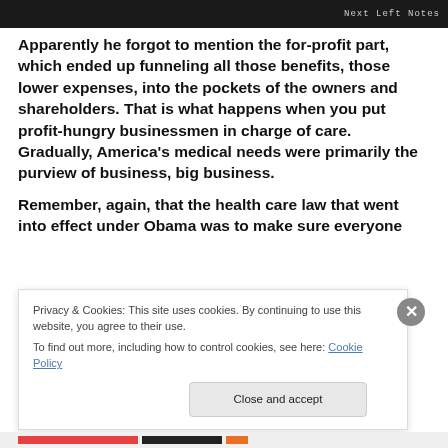[Figure (screenshot): Dark banner image with 'Next Left Notes' text in monospace font on right side]
Apparently he forgot to mention the for-profit part, which ended up funneling all those benefits, those lower expenses, into the pockets of the owners and shareholders. That is what happens when you put profit-hungry businessmen in charge of care. Gradually, America's medical needs were primarily the purview of business, big business.
Remember, again, that the health care law that went into effect under Obama was to make sure everyone
Privacy & Cookies: This site uses cookies. By continuing to use this website, you agree to their use.
To find out more, including how to control cookies, see here: Cookie Policy
Close and accept